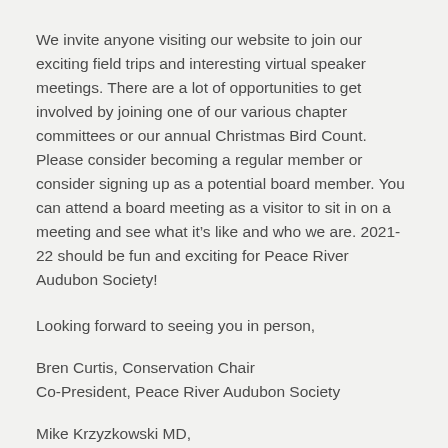We invite anyone visiting our website to join our exciting field trips and interesting virtual speaker meetings. There are a lot of opportunities to get involved by joining one of our various chapter committees or our annual Christmas Bird Count. Please consider becoming a regular member or consider signing up as a potential board member. You can attend a board meeting as a visitor to sit in on a meeting and see what it's like and who we are. 2021-22 should be fun and exciting for Peace River Audubon Society!
Looking forward to seeing you in person,
Bren Curtis, Conservation Chair
Co-President, Peace River Audubon Society
Mike Krzyzkowski MD,